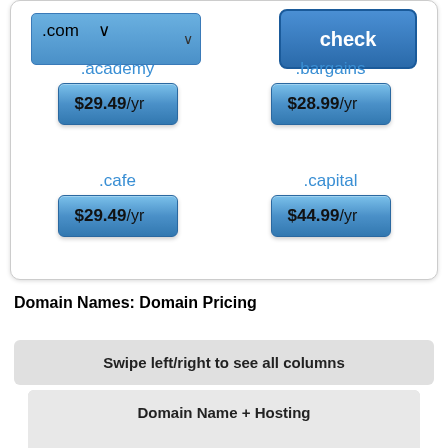[Figure (screenshot): Domain name search widget showing .com dropdown selector and check button, with domain TLD pricing tiles: .academy $29.49/yr, .bargains $28.99/yr, .cafe $29.49/yr, .capital $44.99/yr]
Domain Names: Domain Pricing
Swipe left/right to see all columns
| Domain Name + Hosting |
| Domain Name Only |
| Domain TLD Details |